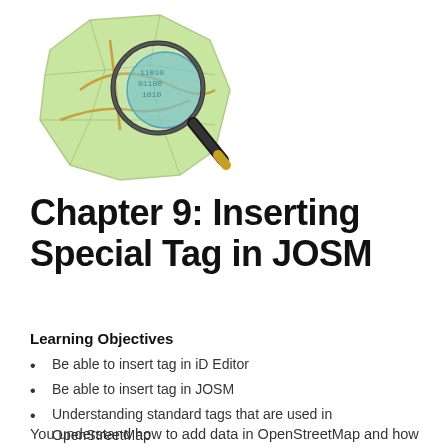[Figure (logo): OpenStreetMap logo: a crumpled green map with a magnifying glass showing binary digits, representing JOSM/OSM data editor icon]
Chapter 9: Inserting Special Tag in JOSM
Learning Objectives
Be able to insert tag in iD Editor
Be able to insert tag in JOSM
Understanding standard tags that are used in OpenStreetMap
You understand how to add data in OpenStreetMap and how to maintain the quality of existing data so that we can contribute better. In this training we want the objects that we mapped in OpenStreetMap to also appear as an